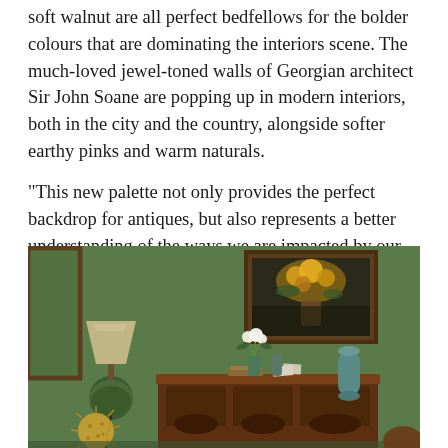soft walnut are all perfect bedfellows for the bolder colours that are dominating the interiors scene. The much-loved jewel-toned walls of Georgian architect Sir John Soane are popping up in modern interiors, both in the city and the country, alongside softer earthy pinks and warm naturals.
“This new palette not only provides the perfect backdrop for antiques, but also represents a better understanding of the ways we are impacted by our home environments.”
[Figure (photo): Interior room scene with sage/olive green painted walls. A wooden desk/bureau holds books, papers, and a teal cylindrical object. A table lamp with a beige shade sits on a green ceramic base to the left, with a spiky round decorative object (pufferfish) on the floor below. A small vase with white flowers and another vase are on the desk. Above the desk hangs a framed oil painting of flowers. A large framed mirror is partially visible on the left wall.]